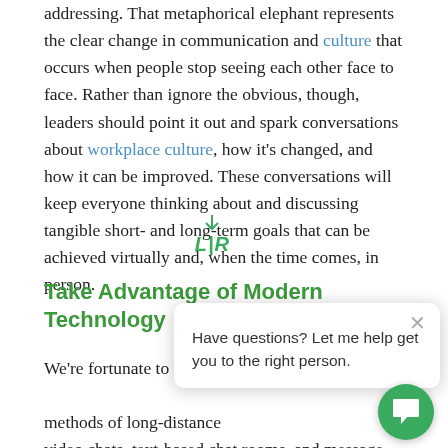addressing. That metaphorical elephant represents the clear change in communication and culture that occurs when people stop seeing each other face to face. Rather than ignore the obvious, though, leaders should point it out and spark conversations about workplace culture, how it's changed, and how it can be improved. These conversations will keep everyone thinking about and discussing tangible short- and long-term goals that can be achieved virtually and, when the time comes, in person.
Take Advantage of Modern Technology
We're fortunate to live in [an age with many] methods of long-distance [communication like] video chats, text-based chat rooms, and message boards, etc. While there's no replacement for in-person interactions, there are also countless opportunities [to] keep in touch with team members throughout the w[ork]day when working remotely. If you're concerned about keeping